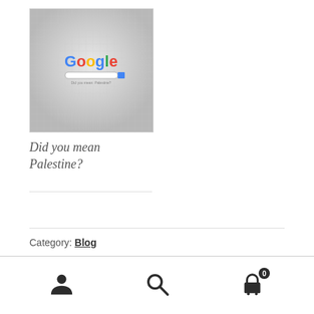[Figure (screenshot): Screenshot of the Google homepage search interface on a gray textured background]
Did you mean Palestine?
Category: Blog